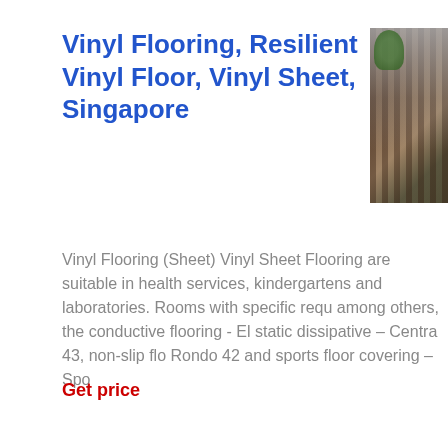Vinyl Flooring, Resilient Vinyl Floor, Vinyl Sheet, Singapore
[Figure (photo): Interior room with vinyl wood-effect flooring, white plant pots with green plants, modern furnishings visible in background]
Vinyl Flooring (Sheet) Vinyl Sheet Flooring are suitable in health services, kindergartens and laboratories. Rooms with specific requ among others, the conductive flooring - El static dissipative – Centra 43, non-slip flo Rondo 42 and sports floor covering – Spo
Get price